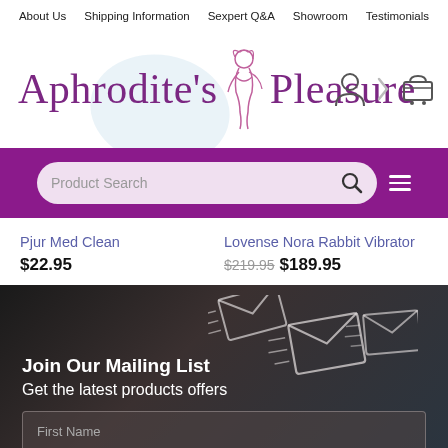About Us  Shipping Information  Sexpert Q&A  Showroom  Testimonials
[Figure (logo): Aphrodite's Pleasure script logo in purple with line art figure, user icon and cart icon]
[Figure (screenshot): Purple search bar with 'Product Search' placeholder, search icon and hamburger menu icon]
Pjur Med Clean
$22.95
Lovense Nora Rabbit Vibrator
$219.95  $189.95
[Figure (photo): Dark photo background with envelope/email icons flying, mailing list signup section]
Join Our Mailing List
Get the latest products offers
First Name